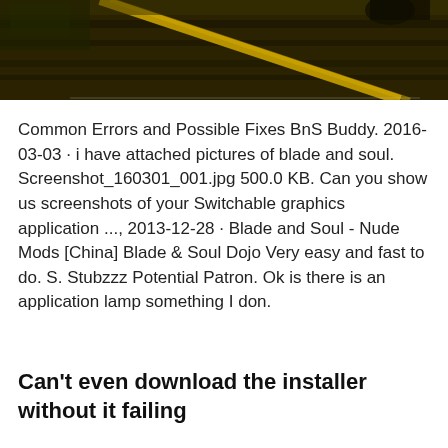[Figure (photo): Partial photo at top of page showing a dark outdoor scene with a yellow diagonal line/stripe across a wooden or road surface]
Common Errors and Possible Fixes BnS Buddy. 2016-03-03 · i have attached pictures of blade and soul. Screenshot_160301_001.jpg 500.0 KB. Can you show us screenshots of your Switchable graphics application ..., 2013-12-28 · Blade and Soul - Nude Mods [China] Blade & Soul Dojo Very easy and fast to do. S. Stubzzz Potential Patron. Ok is there is an application lamp something I don.
Can't even download the installer without it failing